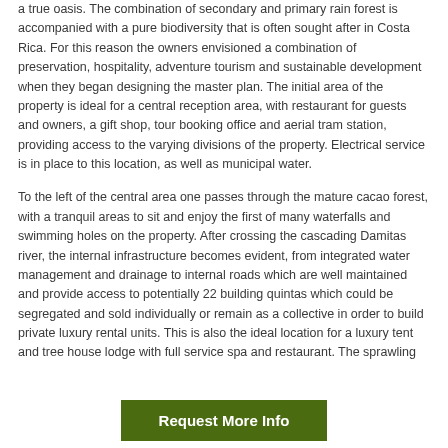a true oasis. The combination of secondary and primary rain forest is accompanied with a pure biodiversity that is often sought after in Costa Rica. For this reason the owners envisioned a combination of preservation, hospitality, adventure tourism and sustainable development when they began designing the master plan. The initial area of the property is ideal for a central reception area, with restaurant for guests and owners, a gift shop, tour booking office and aerial tram station, providing access to the varying divisions of the property. Electrical service is in place to this location, as well as municipal water.
To the left of the central area one passes through the mature cacao forest, with a tranquil areas to sit and enjoy the first of many waterfalls and swimming holes on the property. After crossing the cascading Damitas river, the internal infrastructure becomes evident, from integrated water management and drainage to internal roads which are well maintained and provide access to potentially 22 building quintas which could be segregated and sold individually or remain as a collective in order to build private luxury rental units. This is also the ideal location for a luxury tent and tree house lodge with full service spa and restaurant. The sprawling
Request More Info